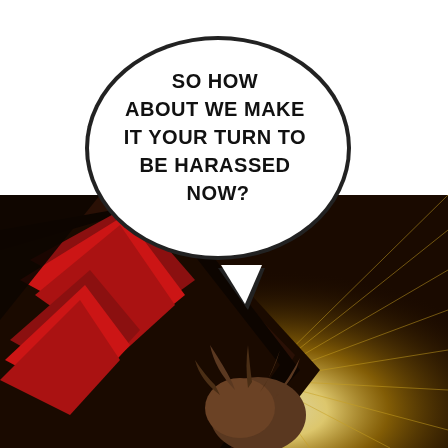[Figure (illustration): Manga/webtoon action panel. Dark dramatic background with radial speed lines emanating from center-bottom. A dark silhouette of a character with brown hair is visible at the bottom center. Large red/dark angular blade or claw shapes sweep across the left side. A speech bubble with a tail pointing down contains the text 'SO HOW ABOUT WE MAKE IT YOUR TURN TO BE HARASSED NOW?' in bold uppercase letters.]